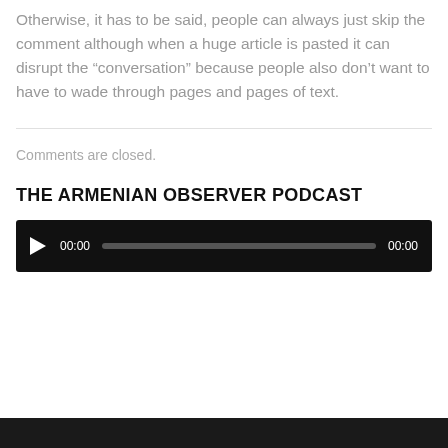Otherwise, it has to be said, people can always just skip the comment although when a huge article is pasted it can disrupt the “conversation” because people also don’t want to have to wade through pages and pages of text.
Comments are closed.
THE ARMENIAN OBSERVER PODCAST
[Figure (other): Audio player widget with play button, time display 00:00, progress bar, and end time 00:00 on dark background]